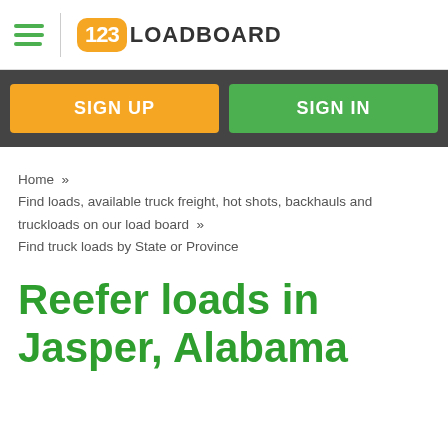123LOADBOARD
SIGN UP
SIGN IN
Home » Find loads, available truck freight, hot shots, backhauls and truckloads on our load board » Find truck loads by State or Province
Reefer loads in Jasper, Alabama